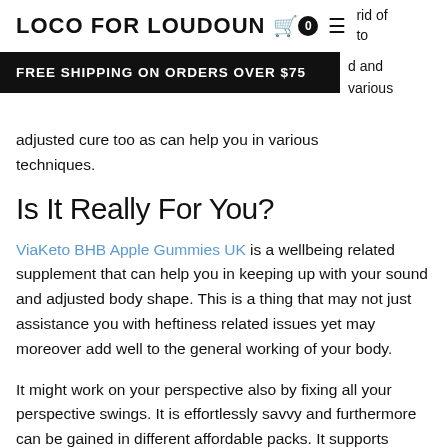LOCO FOR LOUDOUN [cart icon] 0 [menu icon] rid of
to
FREE SHIPPING ON ORDERS OVER $75
d and adjusted cure too as can help you in various techniques.
Is It Really For You?
ViaKeto BHB Apple Gummies UK is a wellbeing related supplement that can help you in keeping up with your sound and adjusted body shape. This is a thing that may not just assistance you with heftiness related issues yet may moreover add well to the general working of your body.
It might work on your perspective also by fixing all your perspective swings. It is effortlessly savvy and furthermore can be gained in different affordable packs. It supports limiting your strain and nervousness so you can finish each work of